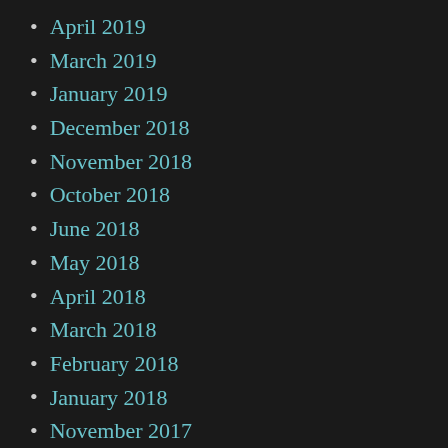April 2019
March 2019
January 2019
December 2018
November 2018
October 2018
June 2018
May 2018
April 2018
March 2018
February 2018
January 2018
November 2017
October 2017
September 2017
August 2017